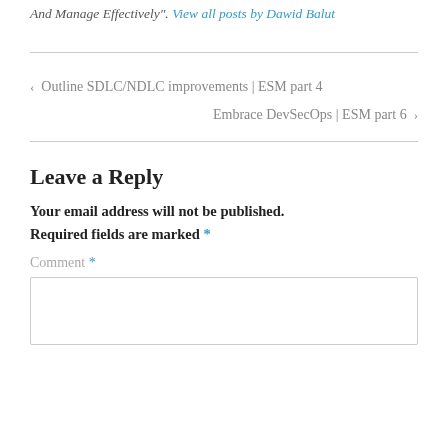Handbook For Those Who Want To Lead And Manage Effectively". View all posts by Dawid Balut
‹ Outline SDLC/NDLC improvements | ESM part 4
Embrace DevSecOps | ESM part 6 ›
Leave a Reply
Your email address will not be published. Required fields are marked *
Comment *